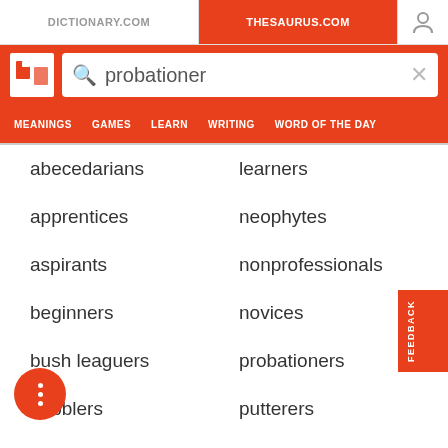DICTIONARY.COM | THESAURUS.COM
probationer
abecedarians
learners
apprentices
neophytes
aspirants
nonprofessionals
beginners
novices
bush leaguers
probationers
dabblers
putterers
dilettantes
recruits
greenhorns
tenderfoots